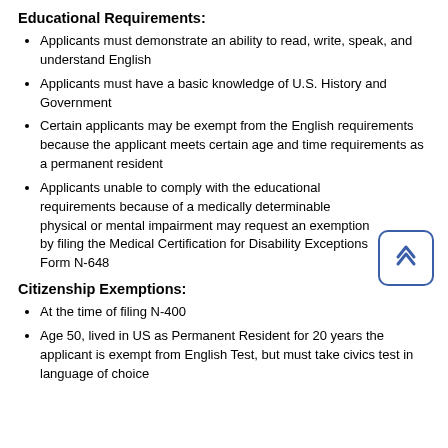Educational Requirements:
Applicants must demonstrate an ability to read, write, speak, and understand English
Applicants must have a basic knowledge of U.S. History and Government
Certain applicants may be exempt from the English requirements because the applicant meets certain age and time requirements as a permanent resident
Applicants unable to comply with the educational requirements because of a medically determinable physical or mental impairment may request an exemption by filing the Medical Certification for Disability Exceptions Form N-648
Citizenship Exemptions:
At the time of filing N-400
Age 50, lived in US as Permanent Resident for 20 years the applicant is exempt from English Test, but must take civics test in language of choice